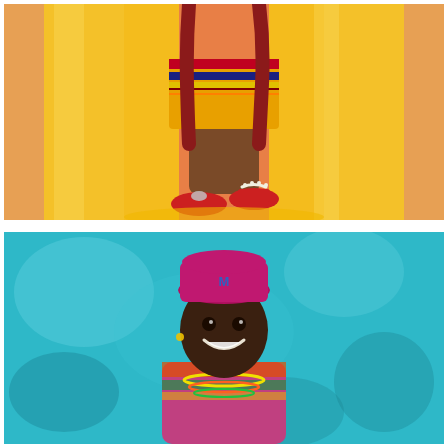[Figure (photo): A child's lower body visible between yellow satin curtain/fabric panels. The child wears a colorful kente-style dress with geometric patterns in yellow, orange, red, blue. Red braids hang on either side. Red shoes with silver bows are on the feet. Pink painted background.]
[Figure (photo): A young smiling child wearing a magenta/fuchsia cap with an emblem on it, and a colorful African print outfit with beaded necklaces. The background is a textured teal/turquoise blue.]